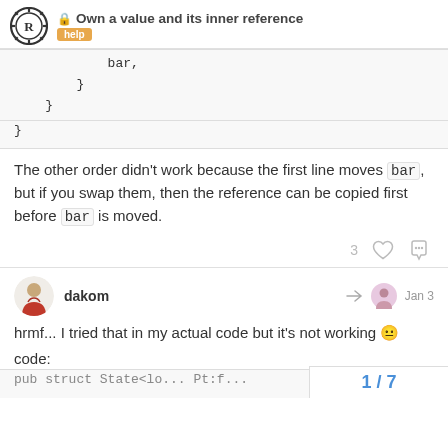Own a value and its inner reference — help
bar,
    }
}
The other order didn't work because the first line moves bar, but if you swap them, then the reference can be copied first before bar is moved.
dakom — Jan 3
hrmf... I tried that in my actual code but it's not working 😐
code:
pub struct State<lo... Pt:f...